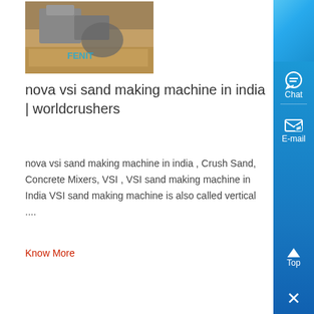[Figure (photo): Outdoor mining/crushing equipment scene with reddish-brown earth, machinery visible, FENIT watermark overlay]
nova vsi sand making machine in india | worldcrushers
nova vsi sand making machine in india , Crush Sand, Concrete Mixers, VSI , VSI sand making machine in India VSI sand making machine is also called vertical ....
Know More
[Figure (photo): Large industrial sand making plant equipment, dark grey metal machinery with pipes and components, FENIT watermark overlay]
Sand Making Plant Equipment Manufacturer In In
Our artificial sand making machine with Stone Crusher Machine